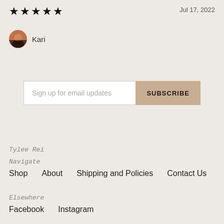★★★★★
Jul 17, 2022
Kari
Sign up for email updates
SUBSCRIBE
Tylee Rei
Navigate
Shop   About   Shipping and Policies   Contact Us
Elsewhere
Facebook   Instagram